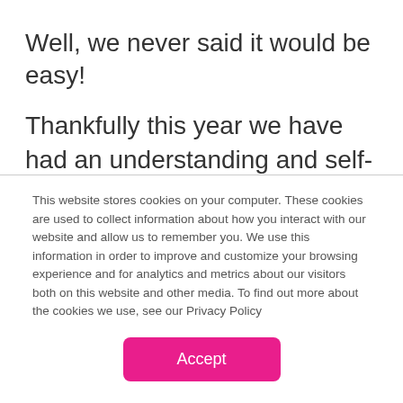Well, we never said it would be easy!
Thankfully this year we have had an understanding and self-sufficient cohort that kept their focus on getting the job done, rolling with the punches, and getting on board with the rapid changes that have occurred several times across the program to deal with changing schedules and delivery vehicles.
This website stores cookies on your computer. These cookies are used to collect information about how you interact with our website and allow us to remember you. We use this information in order to improve and customize your browsing experience and for analytics and metrics about our visitors both on this website and other media. To find out more about the cookies we use, see our Privacy Policy
Accept